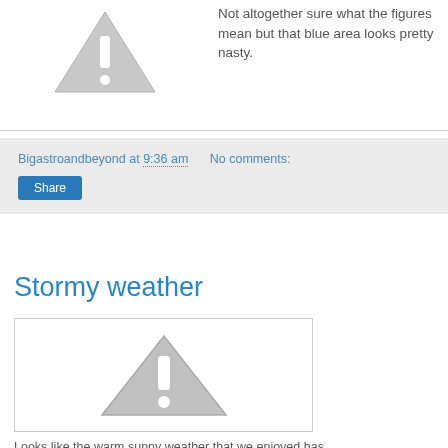[Figure (illustration): Grey warning triangle with exclamation mark (broken image placeholder), large version at top left]
Not altogether sure what the figures mean but that blue area looks pretty nasty.
Bigastroandbeyond at 9:36 am   No comments:
[Figure (illustration): Share button (blue rectangle with white text 'Share')]
Stormy weather
[Figure (illustration): Grey warning triangle with exclamation mark (broken image placeholder), smaller version]
Looks like the warm sunny weather that we enjoyed has